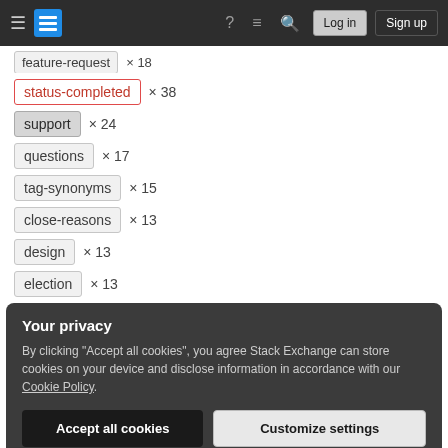Stack Exchange navigation bar with Log in and Sign up buttons
feature-request × 18 (partially visible)
status-completed × 38
support × 24
questions × 17
tag-synonyms × 15
close-reasons × 13
design × 13
election × 13
Your privacy
By clicking "Accept all cookies", you agree Stack Exchange can store cookies on your device and disclose information in accordance with our Cookie Policy.
Accept all cookies | Customize settings